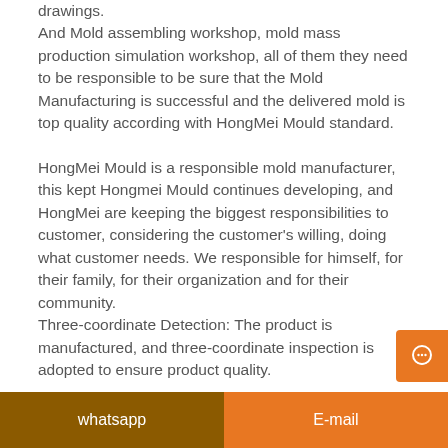drawings.
And Mold assembling workshop, mold mass production simulation workshop, all of them they need to be responsible to be sure that the Mold Manufacturing is successful and the delivered mold is top quality according with HongMei Mould standard.
HongMei Mould is a responsible mold manufacturer, this kept Hongmei Mould continues developing, and HongMei are keeping the biggest responsibilities to customer, considering the customer's willing, doing what customer needs. We responsible for himself, for their family, for their organization and for their community.
Three-coordinate Detection: The product is manufactured, and three-coordinate inspection is adopted to ensure product quality.
whatsapp	E-mail